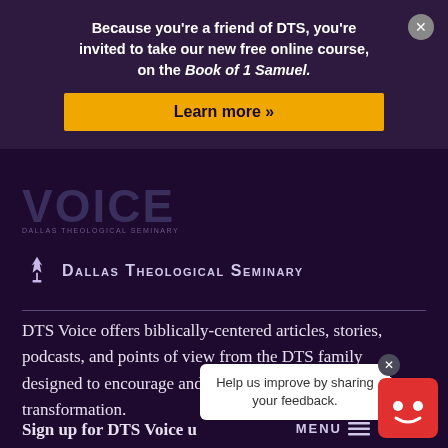Because you're a friend of DTS, you're invited to take our new free online course, on the Book of 1 Samuel.
Learn more »
[Figure (logo): VOICE - Dallas Theological Seminary logo in purple]
Dallas Theological Seminary
DTS Voice offers biblically-centered articles, stories, podcasts, and points of view from the DTS family designed to encourage and equip the church for gospel transformation.
Sign up for DTS Voice u...
Help us improve by sharing your feedback.
MENU